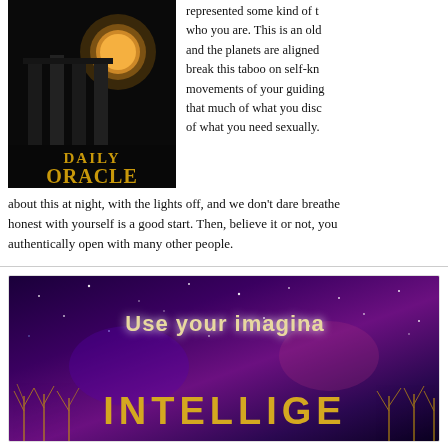[Figure (illustration): Book cover for 'Daily Oracle' showing ancient Greek columns under a large full moon in a dark night sky, with golden text reading 'Daily Oracle']
represented some kind of t... who you are. This is an old... and the planets are aligned... break this taboo on self-kn... movements of your guiding... that much of what you disc... of what you need sexually.
about this at night, with the lights off, and we don't dare breathe... honest with yourself is a good start. Then, believe it or not, you... authentically open with many other people.
[Figure (illustration): Cosmic/mystical image with starry night sky and glowing trees, text reads 'Use your imagina...' at top and 'INTELLIGE...' at bottom in golden letters]